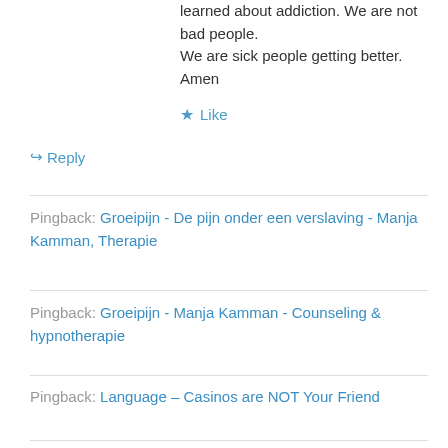learned about addiction. We are not bad people. We are sick people getting better. Amen
★ Like
↪ Reply
Pingback: Groeipijn - De pijn onder een verslaving - Manja Kamman, Therapie
Pingback: Groeipijn - Manja Kamman - Counseling & hypnotherapie
Pingback: Language – Casinos are NOT Your Friend
Pingback: Связано: неблагоприятные детские переживания, здоровье + зависимость